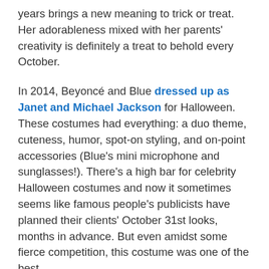years brings a new meaning to trick or treat. Her adorableness mixed with her parents' creativity is definitely a treat to behold every October.
In 2014, Beyoncé and Blue dressed up as Janet and Michael Jackson for Halloween. These costumes had everything: a duo theme, cuteness, humor, spot-on styling, and on-point accessories (Blue's mini microphone and sunglasses!). There's a high bar for celebrity Halloween costumes and now it sometimes seems like famous people's publicists have planned their clients' October 31st looks, months in advance. But even amidst some fierce competition, this costume was one of the best.
In 2016, she accompanied her mom and dad dressed as iconic 1950s Ken and Barbie. Blue went for an '80s rocker look for a more updated Barbie style. That was a busy Halloween, because Blue also had the chance to dress up